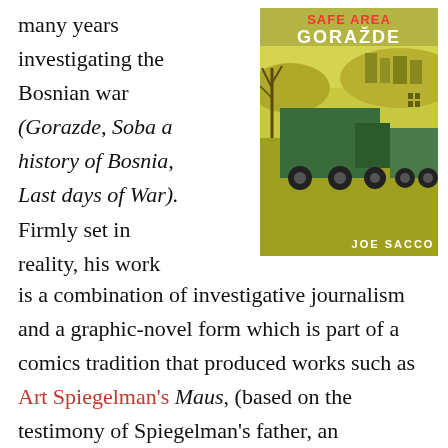many years investigating the Bosnian war (Gorazde, Soba a history of Bosnia, Last days of War). Firmly set in reality, his work is a combination of investigative journalism and a graphic-novel form which is part of a comics tradition that produced works such as Art Spiegelman's Maus, (based on the testimony of Spiegelman's father, an
[Figure (illustration): Book cover of 'Safe Area Gorazde' by Joe Sacco. The cover shows a yellowish-green illustrated scene with military trucks in a war-torn landscape with bare trees. The title 'SAFE AREA GORAŽDE' is shown at the top in red/white letters, and the author name 'JOE SACCO' appears at the bottom right in white text.]